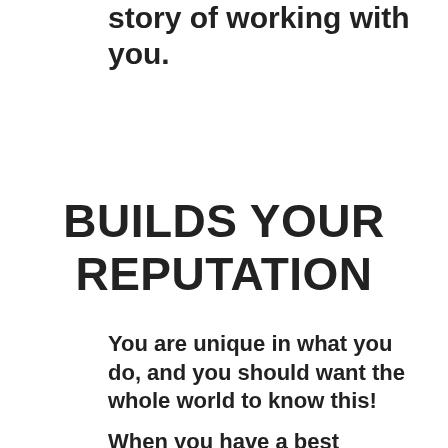story of working with you.
BUILDS YOUR REPUTATION
You are unique in what you do, and you should want the whole world to know this!
When you have a best practice in place within your business regarding testimonials and reviews, you compound